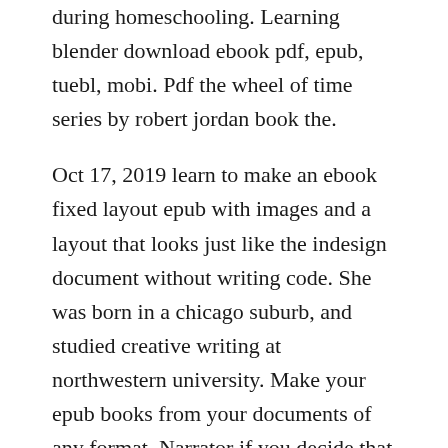during homeschooling. Learning blender download ebook pdf, epub, tuebl, mobi. Pdf the wheel of time series by robert jordan book the.
Oct 17, 2019 learn to make an ebook fixed layout epub with images and a layout that looks just like the indesign document without writing code. She was born in a chicago suburb, and studied creative writing at northwestern university. Make your epub books from your documents of any format. Narrator if you decide that you want tomake a software ebook, here's some of the first...